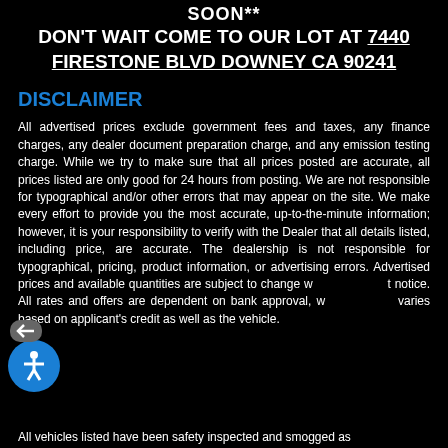SOON**
DON'T WAIT COME TO OUR LOT AT 7440 FIRESTONE BLVD DOWNEY CA 90241
DISCLAIMER
All advertised prices exclude government fees and taxes, any finance charges, any dealer document preparation charge, and any emission testing charge. While we try to make sure that all prices posted are accurate, all prices listed are only good for 24 hours from posting. We are not responsible for typographical and/or other errors that may appear on the site. We make every effort to provide you the most accurate, up-to-the-minute information; however, it is your responsibility to verify with the Dealer that all details listed, including price, are accurate. The dealership is not responsible for typographical, pricing, product information, or advertising errors. Advertised prices and available quantities are subject to change without notice. All rates and offers are dependent on bank approval, which varies based on applicant's credit as well as the vehicle.
All vehicles listed have been safety inspected and smogged as